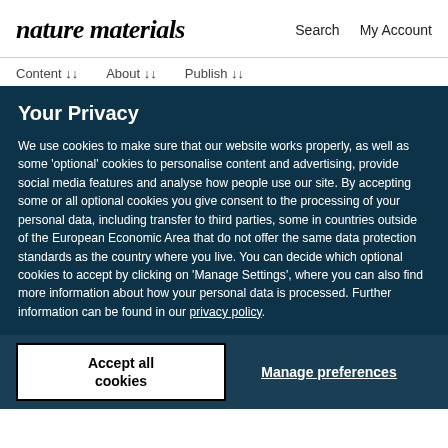nature materials  Search  My Account
Content ↓↓  About ↓↓  Publish ↓↓
Your Privacy
We use cookies to make sure that our website works properly, as well as some 'optional' cookies to personalise content and advertising, provide social media features and analyse how people use our site. By accepting some or all optional cookies you give consent to the processing of your personal data, including transfer to third parties, some in countries outside of the European Economic Area that do not offer the same data protection standards as the country where you live. You can decide which optional cookies to accept by clicking on 'Manage Settings', where you can also find more information about how your personal data is processed. Further information can be found in our privacy policy.
Accept all cookies
Manage preferences